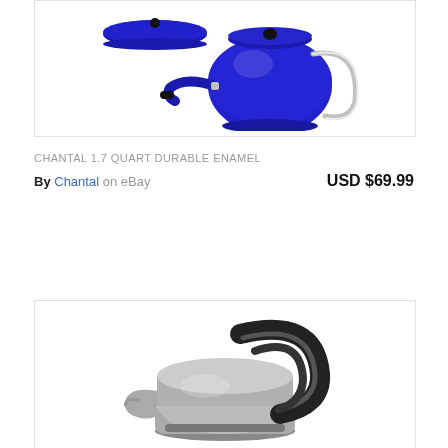[Figure (photo): Blue enamel tea kettle with silver handle and black knob, lid shown separately above the kettle, photographed on white background]
CHANTAL 1.7 QUART DURABLE ENAMEL
By Chantal on eBay    USD $69.99
[Figure (photo): Stainless steel and black modern tea kettle with curved handle, photographed on white background]